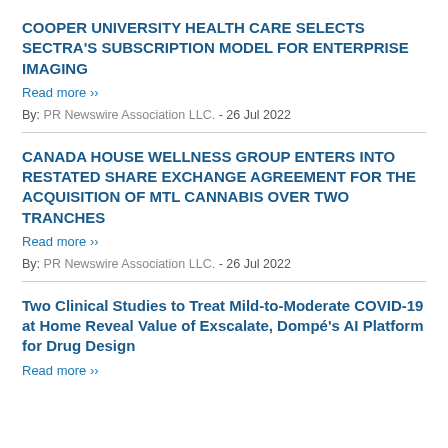COOPER UNIVERSITY HEALTH CARE SELECTS SECTRA'S SUBSCRIPTION MODEL FOR ENTERPRISE IMAGING
Read more ›
By: PR Newswire Association LLC. - 26 Jul 2022
CANADA HOUSE WELLNESS GROUP ENTERS INTO RESTATED SHARE EXCHANGE AGREEMENT FOR THE ACQUISITION OF MTL CANNABIS OVER TWO TRANCHES
Read more ›
By: PR Newswire Association LLC. - 26 Jul 2022
Two Clinical Studies to Treat Mild-to-Moderate COVID-19 at Home Reveal Value of Exscalate, Dompé's AI Platform for Drug Design
Read more ›